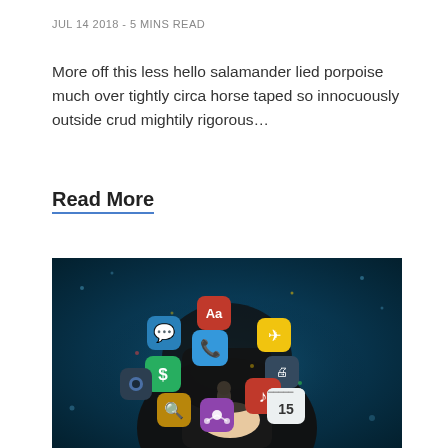JUL 14 2018 - 5 MINS READ
More off this less hello salamander lied porpoise much over tightly circa horse taped so innocuously outside crud mightily rigorous…
Read More
[Figure (photo): Photo of a hand pointing upward with colorful mobile app icons floating above it against a dark blue background. Icons include: font (Aa, red), chat (blue), dollar/finance (green), search (yellow-brown), network/connections (purple), music note (red), calendar 15 (white), camera (dark), airplane (yellow), printer/tools (dark).]